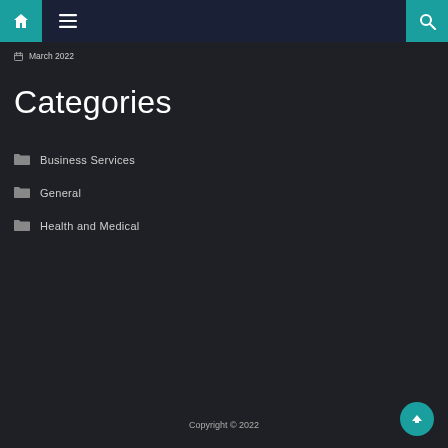Navigation bar with home icon, menu icon, and search icon
March 2022
Categories
Business Services
General
Health and Medical
Copyright © 2022